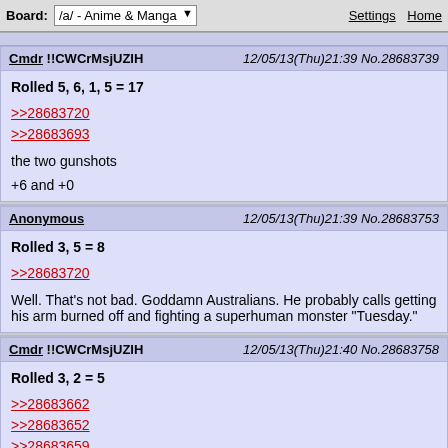Board: /a/ - Anime & Manga  Settings  Home
Cmdr !!CWCrMsjUZIH  12/05/13(Thu)21:39 No.28683739
Rolled 5, 6, 1, 5 = 17
>>28683720
>>28683693
the two gunshots
+6 and +0
Anonymous  12/05/13(Thu)21:39 No.28683753
Rolled 3, 5 = 8
>>28683720
Well. That's not bad. Goddamn Australians. He probably calls getting his arm burned off and fighting a superhuman monster "Tuesday."
Cmdr !!CWCrMsjUZIH  12/05/13(Thu)21:40 No.28683758
Rolled 3, 2 = 5
>>28683662
>>28683652
>>28683659